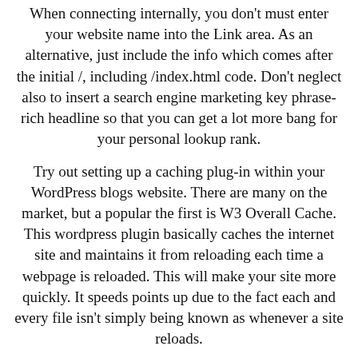When connecting internally, you don't must enter your website name into the Link area. As an alternative, just include the info which comes after the initial /, including /index.html code. Don't neglect also to insert a search engine marketing key phrase-rich headline so that you can get a lot more bang for your personal lookup rank.
Try out setting up a caching plug-in within your WordPress blogs website. There are many on the market, but a popular the first is W3 Overall Cache. This wordpress plugin basically caches the internet site and maintains it from reloading each time a webpage is reloaded. This will make your site more quickly. It speeds points up due to the fact each and every file isn't simply being known as whenever a site reloads.
Do not keep your standard sidebar. Get in and